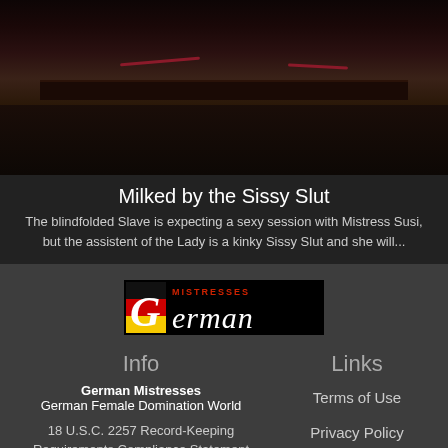[Figure (photo): Dark photograph showing a table with ropes in a dungeon/BDSM setting]
Milked by the Sissy Slut
The blindfolded Slave is expecting a sexy session with Mistress Susi, but the assistent of the Lady is a kinky Sissy Slut and she will...
[Figure (logo): German Mistresses logo with German flag, gothic G, MISTRESSES text in red and German in white italic]
Info
German Mistresses
German Female Domination World
18 U.S.C. 2257 Record-Keeping Requirements Compliance Statement
Links
Terms of Use
Privacy Policy
Contact